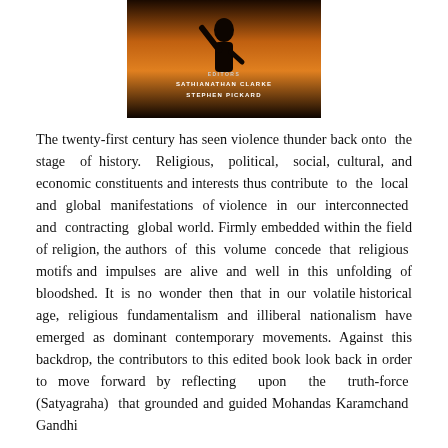[Figure (photo): Book cover image showing a silhouetted figure against a warm orange/amber background with text: EDITORS SATHIANATHAN CLARKE STEPHEN PICKARD]
The twenty-first century has seen violence thunder back onto the stage of history. Religious, political, social, cultural, and economic constituents and interests thus contribute to the local and global manifestations of violence in our interconnected and contracting global world. Firmly embedded within the field of religion, the authors of this volume concede that religious motifs and impulses are alive and well in this unfolding of bloodshed. It is no wonder then that in our volatile historical age, religious fundamentalism and illiberal nationalism have emerged as dominant contemporary movements. Against this backdrop, the contributors to this edited book look back in order to move forward by reflecting upon the truth-force (Satyagraha) that grounded and guided Mohandas Karamchand Gandhi